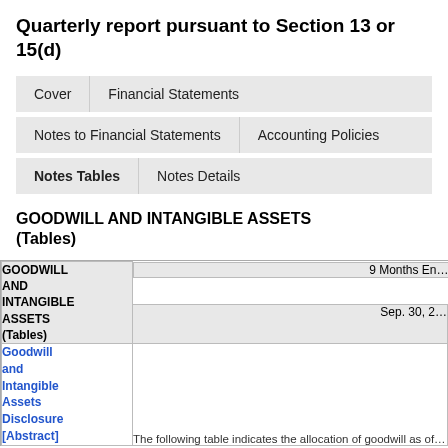Quarterly report pursuant to Section 13 or 15(d)
Cover | Financial Statements
Notes to Financial Statements | Accounting Policies
Notes Tables | Notes Details
GOODWILL AND INTANGIBLE ASSETS (Tables)
| GOODWILL AND INTANGIBLE ASSETS (Tables) | 9 Months Ended | Sep. 30, 2... |
| --- | --- | --- |
| Goodwill and Intangible Assets Disclosure [Abstract] |  |  |
|  | The following table indicates the allocation of goodwill as of... |  |